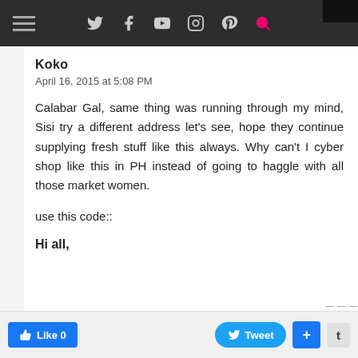[Figure (screenshot): Website navigation bar with hamburger menu, social media icons (Twitter, Facebook, YouTube, Instagram, Pinterest, Search)]
Koko
April 16, 2015 at 5:08 PM
Calabar Gal, same thing was running through my mind, Sisi try a different address let's see, hope they continue supplying fresh stuff like this always. Why can't I cyber shop like this in PH instead of going to haggle with all those market women.
use this code::
Hi all,
[Figure (screenshot): Bottom social sharing bar with Like 0, Tweet, +, and t buttons]